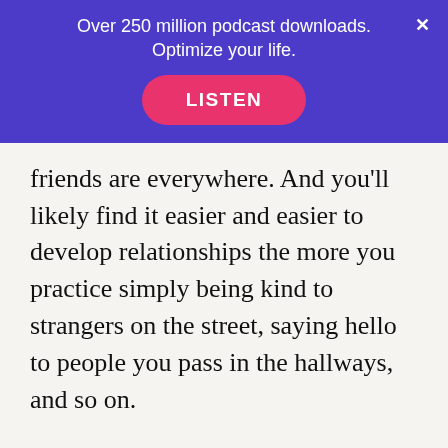Over 250 million podcast downloads. Optimize your life.
friends are everywhere. And you'll likely find it easier and easier to develop relationships the more you practice simply being kind to strangers on the street, saying hello to people you pass in the hallways, and so on.
You're likely psyching yourself out of trying, but the more action you take (in spite of not always having the motivation